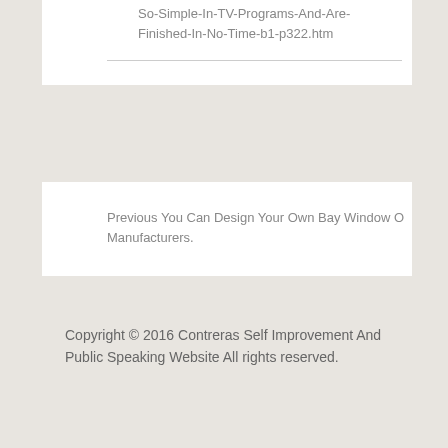So-Simple-In-TV-Programs-And-Are-Finished-In-No-Time-b1-p322.htm
Previous You Can Design Your Own Bay Window O Manufacturers.
Copyright © 2016 Contreras Self Improvement And Public Speaking Website All rights reserved.